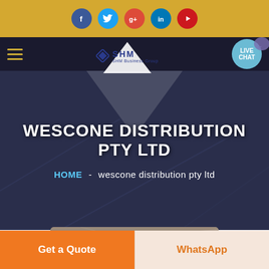[Figure (screenshot): Golden top bar with five social media icons: Facebook (blue), Twitter (light blue), Google+ (red), LinkedIn (blue), YouTube (red)]
[Figure (screenshot): Dark navy navigation bar with hamburger menu on left, SHM logo in center (diamond icon + SHM text), and Live Chat button on right]
WESCONE DISTRIBUTION PTY LTD
HOME - wescone distribution pty ltd
[Figure (photo): Partially visible warehouse or industrial interior photo at the bottom of the hero section]
Get a Quote
WhatsApp